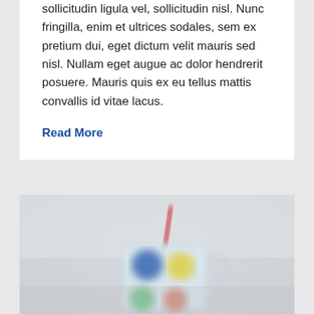sollicitudin ligula vel, sollicitudin nisl. Nunc fringilla, enim et ultrices sodales, sem ex pretium dui, eget dictum velit mauris sed nisl. Nullam eget augue ac dolor hendrerit posuere. Mauris quis ex eu tellus mattis convallis id vitae lacus.
Read More
[Figure (photo): A blurred photo showing a colorful mug with emoji-like circular designs in blue, yellow, and other colors, with a red straw or pencil sticking out. Light background.]